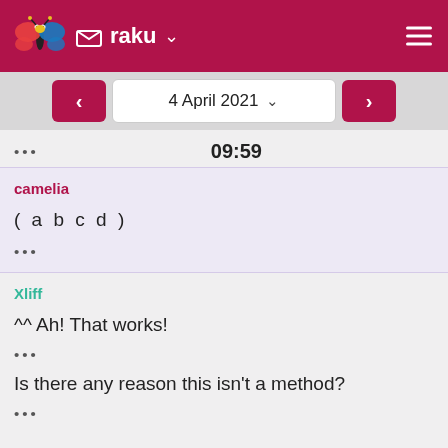raku
4 April 2021
09:59
camelia
( a b c d )
...
Xliff
^^ Ah! That works!
...
Is there any reason this isn't a method?
...